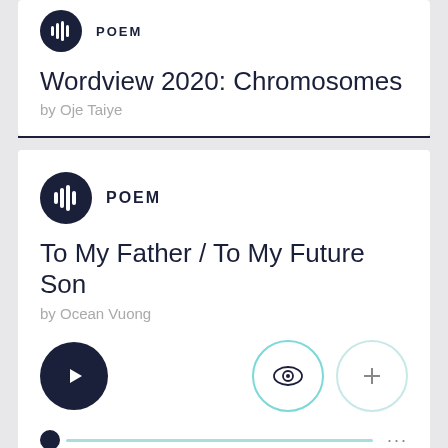[Figure (other): Audio waveform icon in dark navy circle, labeled POEM]
Wordview 2020: Chromosomes
by Oje Taiye
[Figure (other): Audio waveform icon in dark navy circle, labeled POEM]
To My Father / To My Future Son
by Ocean Vuong
[Figure (other): Play button (dark navy circle with triangle), eye icon button (teal outline circle), plus icon button (light teal outline circle), and a progress bar with dot at start]